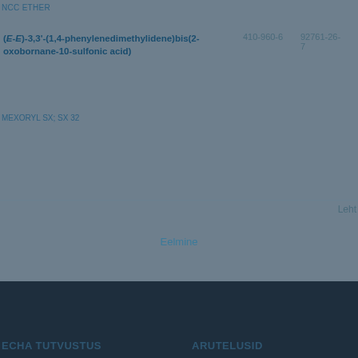NCC ETHER
(E-E)-3,3'-(1,4-phenylenedimethylidene)bis(2-oxobornane-10-sulfonic acid)
410-960-6
92761-26-7
MEXORYL SX; SX 32
Leht
Eelmine
ECHA TUTVUSTUS
ARUTELUSID